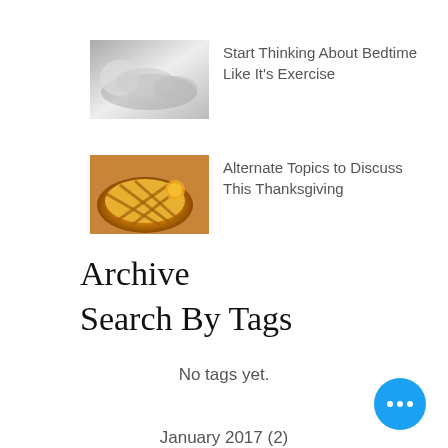[Figure (photo): Thumbnail photo of a sleeping person, grayscale]
Start Thinking About Bedtime Like It's Exercise
[Figure (photo): Thumbnail photo of pies, warm golden tones]
Alternate Topics to Discuss This Thanksgiving
Archive
Search By Tags
No tags yet.
January 2017 (2)